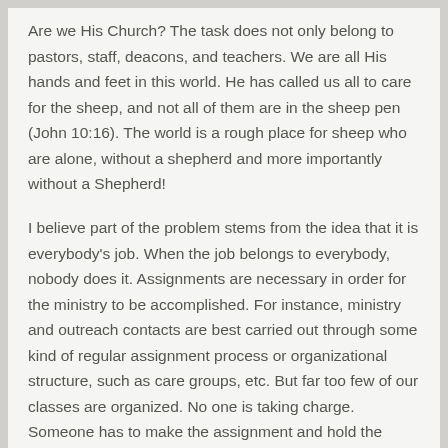Are we His Church? The task does not only belong to pastors, staff, deacons, and teachers. We are all His hands and feet in this world. He has called us all to care for the sheep, and not all of them are in the sheep pen (John 10:16). The world is a rough place for sheep who are alone, without a shepherd and more importantly without a Shepherd!
I believe part of the problem stems from the idea that it is everybody's job. When the job belongs to everybody, nobody does it. Assignments are necessary in order for the ministry to be accomplished. For instance, ministry and outreach contacts are best carried out through some kind of regular assignment process or organizational structure, such as care groups, etc. But far too few of our classes are organized. No one is taking charge. Someone has to make the assignment and hold the